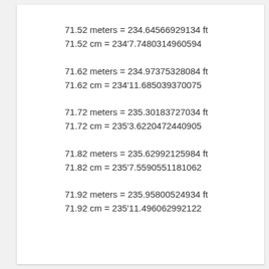71.52 meters = 234.64566929134 ft
71.52 cm = 234'7.7480314960594
71.62 meters = 234.97375328084 ft
71.62 cm = 234'11.685039370075
71.72 meters = 235.30183727034 ft
71.72 cm = 235'3.6220472440905
71.82 meters = 235.62992125984 ft
71.82 cm = 235'7.5590551181062
71.92 meters = 235.95800524934 ft
71.92 cm = 235'11.496062992122